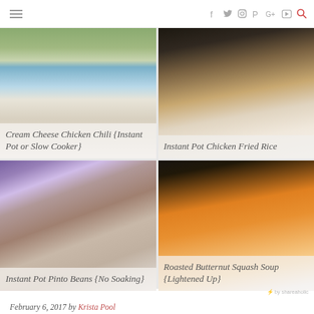Navigation header with hamburger menu and social icons (Facebook, Twitter, Instagram, Pinterest, Google+, YouTube) and search
[Figure (photo): Cream Cheese Chicken Chili food photo with avocado and corn]
Cream Cheese Chicken Chili {Instant Pot or Slow Cooker}
[Figure (photo): Instant Pot Chicken Fried Rice food photo]
Instant Pot Chicken Fried Rice
[Figure (photo): Instant Pot Pinto Beans in white bowl]
Instant Pot Pinto Beans {No Soaking}
[Figure (photo): Roasted Butternut Squash Soup in white bowl]
Roasted Butternut Squash Soup {Lightened Up}
by shareaholic
February 6, 2017 by Krista Pool